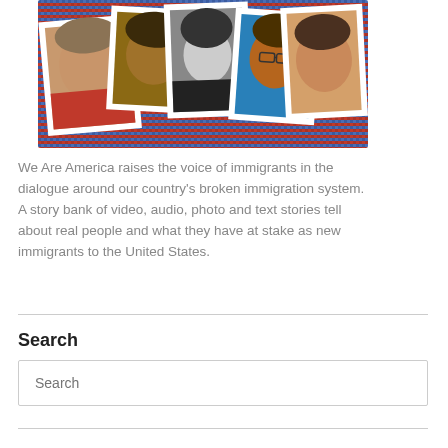[Figure (photo): Collage of five diverse immigrant portraits arranged over an American flag mosaic background. Shows an older woman, a young child, a young Asian woman in black and white, a teen boy in a blue shirt with glasses, and an older Hispanic man smiling.]
We Are America raises the voice of immigrants in the dialogue around our country's broken immigration system. A story bank of video, audio, photo and text stories tell about real people and what they have at stake as new immigrants to the United States.
Search